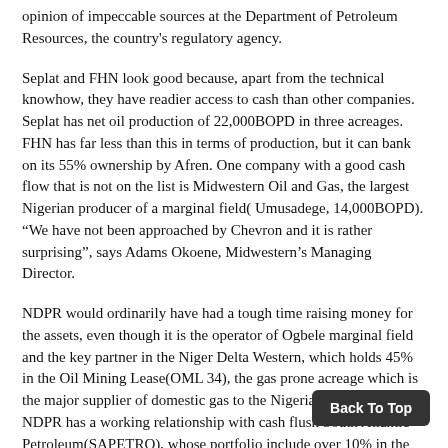opinion of impeccable sources at the Department of Petroleum Resources, the country's regulatory agency.
Seplat and FHN look good because, apart from the technical knowhow, they have readier access to cash than other companies. Seplat has net oil production of 22,000BOPD in three acreages. FHN has far less than this in terms of production, but it can bank on its 55% ownership by Afren. One company with a good cash flow that is not on the list is Midwestern Oil and Gas, the largest Nigerian producer of a marginal field( Umusadege, 14,000BOPD). “We have not been approached by Chevron and it is rather surprising”, says Adams Okoene, Midwestern’s Managing Director.
NDPR would ordinarily have had a tough time raising money for the assets, even though it is the operator of Ogbele marginal field and the key partner in the Niger Delta Western, which holds 45% in the Oil Mining Lease(OML 34), the gas prone acreage which is the major supplier of domestic gas to the Nigerian market. But NDPR has a working relationship with cash flush South Atlantic Petroleum(SAPETRO), whose portfolio include over 10% in the 175,000BOPD Akpo field, in the deepwater offshore South Eastern Niger Delta.